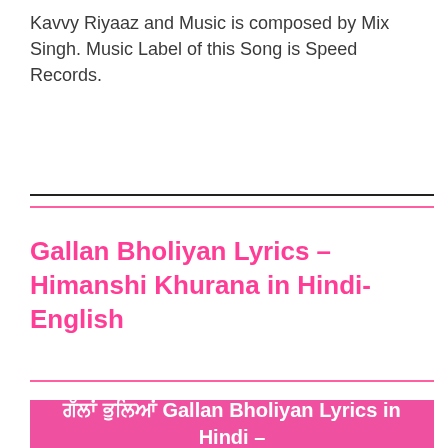Kavvy Riyaaz and Music is composed by Mix Singh. Music Label of this Song is Speed Records.
Gallan Bholiyan Lyrics – Himanshi Khurana in Hindi-English
ਗੱਲਾਂ ਭੁਲਿਆਂ Gallan Bholiyan Lyrics in Hindi –